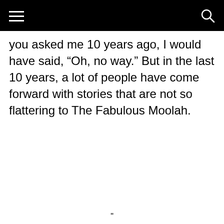you asked me 10 years ago, I would have said, “Oh, no way.” But in the last 10 years, a lot of people have come forward with stories that are not so flattering to The Fabulous Moolah.